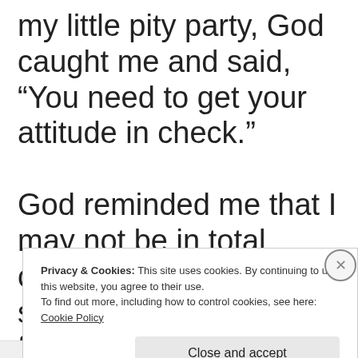my little pity party, God caught me and said, “You need to get your attitude in check.”

God reminded me that I may not be in total control of my current situation, but that my frustration didn’t give me a reason to let my
Privacy & Cookies: This site uses cookies. By continuing to use this website, you agree to their use.
To find out more, including how to control cookies, see here: Cookie Policy

Close and accept
NIPPINGTIPS.CO